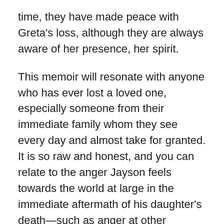time, they have made peace with Greta's loss, although they are always aware of her presence, her spirit.
This memoir will resonate with anyone who has ever lost a loved one, especially someone from their immediate family whom they see every day and almost take for granted. It is so raw and honest, and you can relate to the anger Jayson feels towards the world at large in the immediate aftermath of his daughter's death—such as anger at other families for still being intact, and anger at older people for getting to live for so many years when his own daughter did not even live to be three. Of course, he knows that this is totally unreasonable, but he freely admits to having such thoughts. For anyone who has not gone through the loss he has, it would be impossible to relate to feeling this kind of anger and